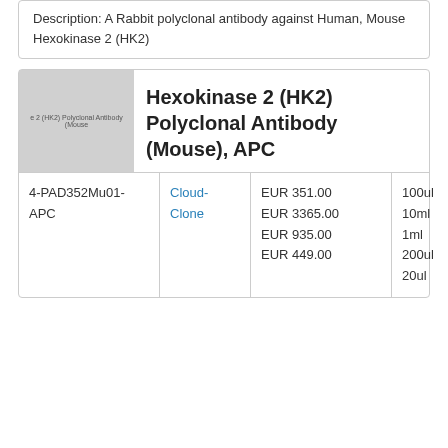Description: A Rabbit polyclonal antibody against Human, Mouse Hexokinase 2 (HK2)
[Figure (photo): Product image placeholder for Hexokinase 2 (HK2) Polyclonal Antibody (Mouse), APC — grey rectangle with faint text label]
Hexokinase 2 (HK2) Polyclonal Antibody (Mouse), APC
| SKU | Brand | Price | Size |
| --- | --- | --- | --- |
| 4-PAD352Mu01-APC | Cloud-Clone | EUR 351.00
EUR 3365.00
EUR 935.00
EUR 449.00 | 100ul
10ml
1ml
200ul
20ul |